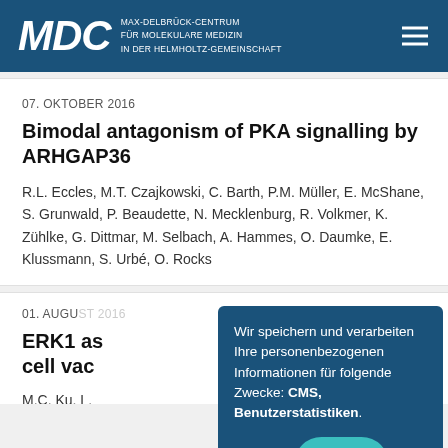MDC MAX-DELBRUCK-CENTRUM FUR MOLEKULARE MEDIZIN IN DER HELMHOLTZ-GEMEINSCHAFT
07. OKTOBER 2016
Bimodal antagonism of PKA signalling by ARHGAP36
R.L. Eccles, M.T. Czajkowski, C. Barth, P.M. Müller, E. McShane, S. Grunwald, P. Beaudette, N. Mecklenburg, R. Volkmer, K. Zühlke, G. Dittmar, M. Selbach, A. Hammes, O. Daumke, E. Klussmann, S. Urbé, O. Rocks
01. AUGUST
ERK1 as... cell vac...
M.C. Ku, L. Prozoroys...
Wir speichern und verarbeiten Ihre personenbezogenen Informationen für folgende Zwecke: CMS, Benutzerstatistiken.
Alle ablehnen
Alle akzeptieren
Mehr erfahren...